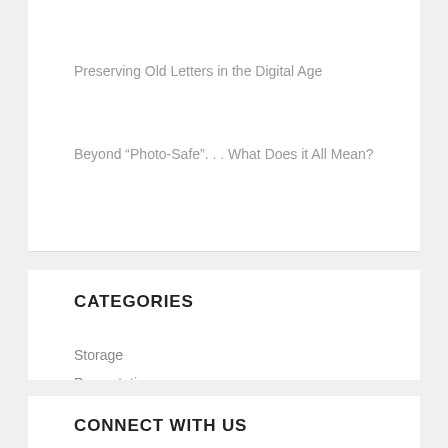Preserving Old Letters in the Digital Age
Beyond “Photo-Safe”. . . What Does it All Mean?
CATEGORIES
Storage
Presentation
Family Photos
Framing
Collections
CONNECT WITH US
« Return to Main Site